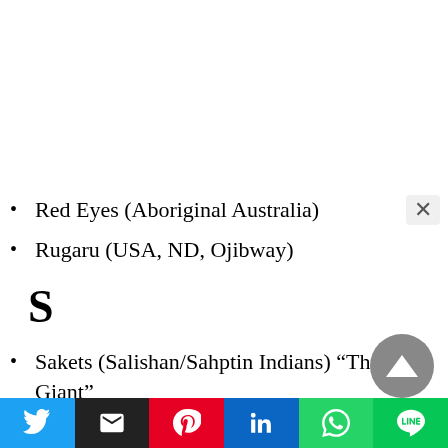Red Eyes (Aboriginal Australia)
Rugaru (USA, ND, Ojibway)
S
Sakets (Salishan/Sahptin Indians) “The Giant”
Sasquatch, or sɛʴsq’əč (Halkomelem, A Salishan language, southwest British Columbia)
Sc’wen’ey’ti (Spokane Indian) “Tall Burnt Hair”
Seatco, the Wicked Giant (n.w. USA, native